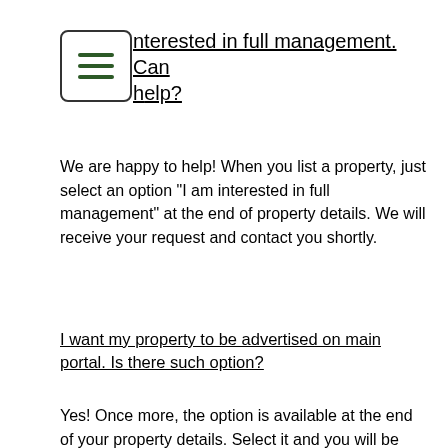I am interested in full management. Can you help?
We are happy to help! When you list a property, just select an option “I am interested in full management” at the end of property details. We will receive your request and contact you shortly.
I want my property to be advertised on main portal. Is there such option?
Yes! Once more, the option is available at the end of your property details. Select it and you will be presented with in-App Payment. This service cost £29 per month for unlimited number of properties.